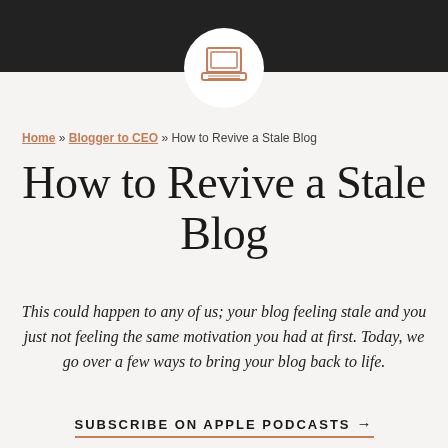[Figure (illustration): Dark banner image at top with a circular white badge containing a laptop/computer line-art icon in rose/salmon color]
Home » Blogger to CEO » How to Revive a Stale Blog
How to Revive a Stale Blog
This could happen to any of us; your blog feeling stale and you just not feeling the same motivation you had at first. Today, we go over a few ways to bring your blog back to life.
SUBSCRIBE ON APPLE PODCASTS →